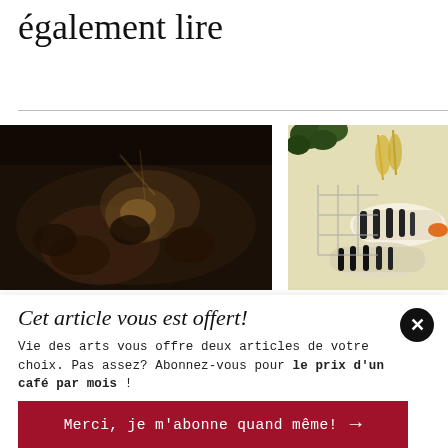également lire
[Figure (photo): Dark painting showing multiple figures in a dramatic scene, appears to be a classical artwork]
[Figure (photo): Colorful illustration showing striped fish or animals with plants on a light background]
Cet article vous est offert!
Vie des arts vous offre deux articles de votre choix. Pas assez? Abonnez-vous pour le prix d'un café par mois !
Merci, je m'abonne quand même! →